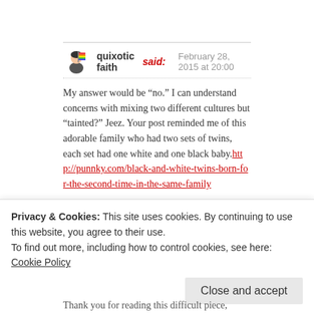quixotic faith said: February 28, 2015 at 20:00
My answer would be “no.” I can understand concerns with mixing two different cultures but “tainted?” Jeez. Your post reminded me of this adorable family who had two sets of twins, each set had one white and one black baby.http://punnky.com/black-and-white-twins-born-for-the-second-time-in-the-same-family
Liked by 1 person
REPLY
Privacy & Cookies: This site uses cookies. By continuing to use this website, you agree to their use.
To find out more, including how to control cookies, see here: Cookie Policy
Close and accept
Thank you for reading this difficult piece,